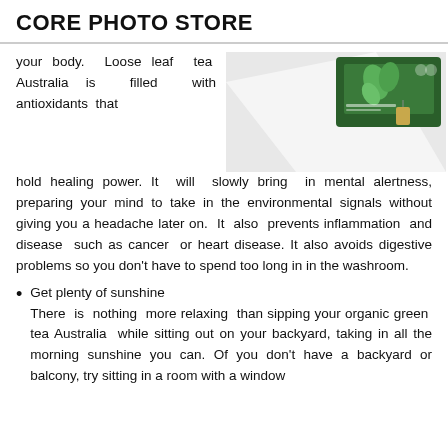CORE PHOTO STORE
your body. Loose leaf tea Australia is filled with antioxidants that hold healing power. It will slowly bring in mental alertness, preparing your mind to take in the environmental signals without giving you a headache later on. It also prevents inflammation and disease such as cancer or heart disease. It also avoids digestive problems so you don't have to spend too long in in the washroom.
[Figure (photo): A green tea box/package photographed from above on a white surface.]
Get plenty of sunshine
There is nothing more relaxing than sipping your organic green tea Australia while sitting out on your backyard, taking in all the morning sunshine you can. Of you don't have a backyard or balcony, try sitting in a room with a window